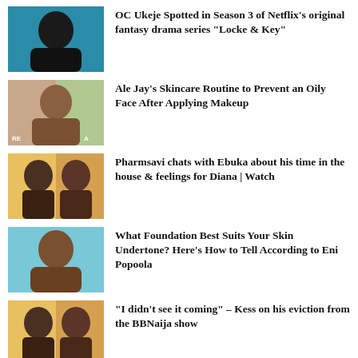OC Ukeje Spotted in Season 3 of Netflix’s original fantasy drama series “Locke & Key”
Ale Jay’s Skincare Routine to Prevent an Oily Face After Applying Makeup
Pharmsavi chats with Ebuka about his time in the house & feelings for Diana | Watch
What Foundation Best Suits Your Skin Undertone? Here’s How to Tell According to Eni Popoola
“I didn’t see it coming” – Kess on his eviction from the BBNaija show